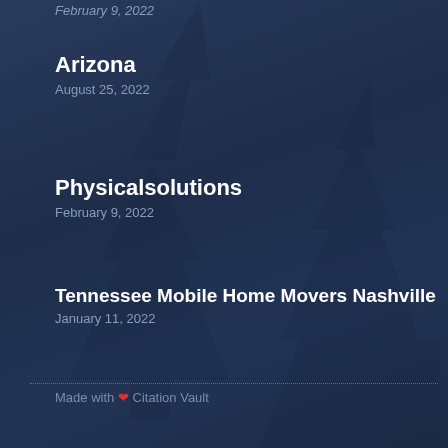February 9, 2022
Arizona
August 25, 2022
Physicalsolutions
February 9, 2022
Tennessee Mobile Home Movers Nashville
January 11, 2022
© Big Girl Business Listings
Made with ❤ Citation Vault